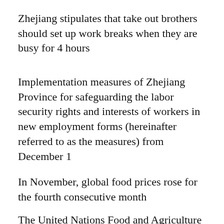Zhejiang stipulates that take out brothers should set up work breaks when they are busy for 4 hours
Implementation measures of Zhejiang Province for safeguarding the labor security rights and interests of workers in new employment forms (hereinafter referred to as the measures) from December 1
In November, global food prices rose for the fourth consecutive month
The United Nations Food and Agriculture Organization said Thursday that global food prices rose for the fourth consecutive month in November, reaching the highest level since June